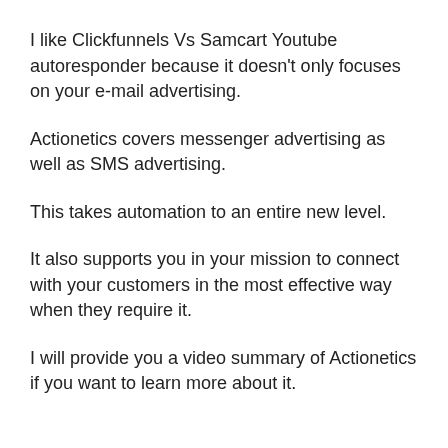I like Clickfunnels Vs Samcart Youtube autoresponder because it doesn't only focuses on your e-mail advertising.
Actionetics covers messenger advertising as well as SMS advertising.
This takes automation to an entire new level.
It also supports you in your mission to connect with your customers in the most effective way when they require it.
I will provide you a video summary of Actionetics if you want to learn more about it.